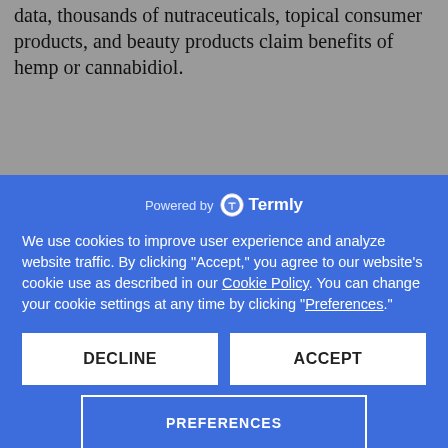data, thousands of nutraceuticals, topical consumer products, and beauty products claim benefits of hemp or cannabidiol.
[Figure (screenshot): Termly cookie consent overlay popup with blue background, showing 'Powered by Termly' header, cookie usage text, Cookie Policy and Preferences links, and three buttons: DECLINE, ACCEPT, PREFERENCES]
as a side effect of their chemotherapy
[Figure (infographic): Row of country flag icons for language selection (Bangladesh, China, Taiwan, UK, France, Germany, India, Italy, Japan, Korea, Portugal, India, Russia, Spain, Sweden, India)]
[Figure (infographic): Social sharing buttons strip: Facebook, Twitter, LinkedIn, Instagram, Reddit, WhatsApp, Messenger, Email, Print, Share]